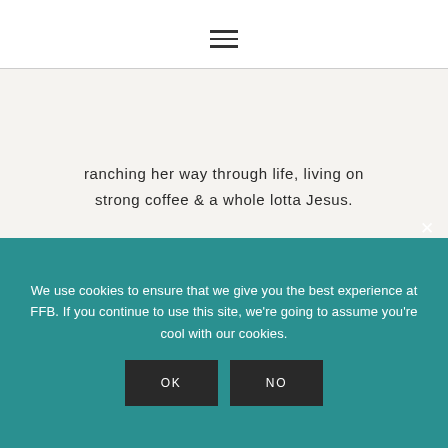[Figure (other): Hamburger menu icon (three horizontal lines)]
ranching her way through life, living on strong coffee & a whole lotta Jesus.
Learn more about me
[Figure (other): Social media icons: Facebook, Instagram, Pinterest, Twitter]
We use cookies to ensure that we give you the best experience at FFB. If you continue to use this site, we're going to assume you're cool with our cookies.
OK
NO